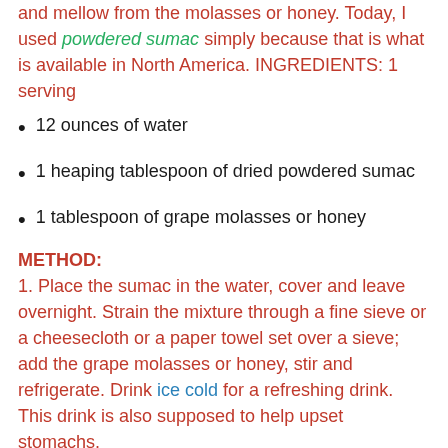and mellow from the molasses or honey. Today, I used powdered sumac simply because that is what is available in North America. INGREDIENTS: 1 serving
12 ounces of water
1 heaping tablespoon of dried powdered sumac
1 tablespoon of grape molasses or honey
METHOD:
1. Place the sumac in the water, cover and leave overnight. Strain the mixture through a fine sieve or a cheesecloth or a paper towel set over a sieve; add the grape molasses or honey, stir and refrigerate. Drink ice cold for a refreshing drink. This drink is also supposed to help upset stomachs.